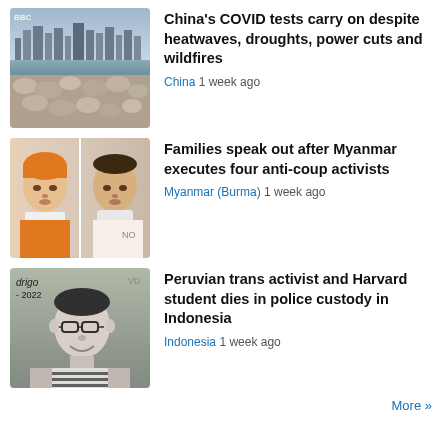[Figure (photo): Aerial view of dry riverbed with exposed rocks, city skyline in background]
China's COVID tests carry on despite heatwaves, droughts, power cuts and wildfires
China  1 week ago
[Figure (photo): Two Asian men side by side, one wearing an orange head covering and prison collar, the other with a white mask around his neck]
Families speak out after Myanmar executes four anti-coup activists
Myanmar (Burma)  1 week ago
[Figure (photo): Black and white photo of a young man smiling, wearing glasses and a striped shirt. Text overlay: drigo 2022]
Peruvian trans activist and Harvard student dies in police custody in Indonesia
Indonesia  1 week ago
More »